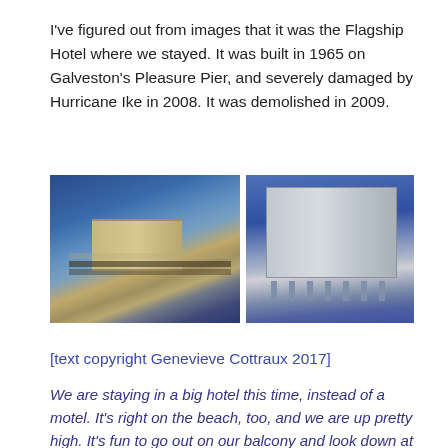I've figured out from images that it was the Flagship Hotel where we stayed. It was built in 1965 on Galveston's Pleasure Pier, and severely damaged by Hurricane Ike in 2008. It was demolished in 2009.
[Figure (photo): Two side-by-side photographs of the Flagship Hotel on Galveston's Pleasure Pier. Left: aerial view showing hotel buildings extending over water on a pier. Right: close-up view of the hotel building on pier pilings over the ocean.]
[text copyright Genevieve Cottraux 2017]
We are staying in a big hotel this time, instead of a motel. It's right on the beach, too, and we are up pretty high. It's fun to go out on our balcony and look down at the water. I haven't ever